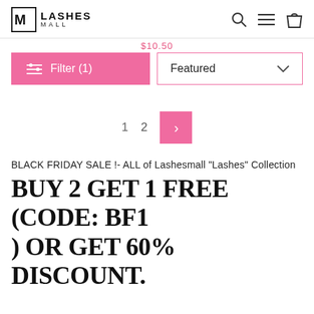LASHES MALL
$10.50
Filter (1)
Featured
1  2  >
BLACK FRIDAY SALE !- ALL of Lashesmall "Lashes" Collection
BUY 2 GET 1 FREE (CODE: BF1 ) OR GET 60% DISCOUNT.